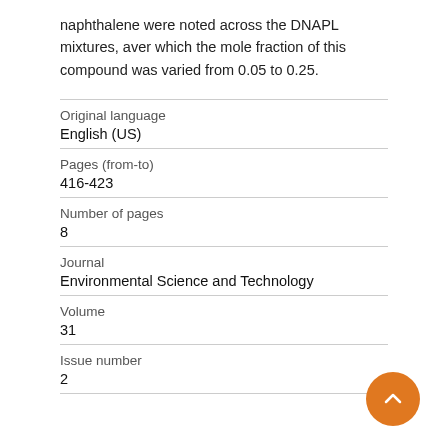naphthalene were noted across the DNAPL mixtures, aver which the mole fraction of this compound was varied from 0.05 to 0.25.
| Field | Value |
| --- | --- |
| Original language | English (US) |
| Pages (from-to) | 416-423 |
| Number of pages | 8 |
| Journal | Environmental Science and Technology |
| Volume | 31 |
| Issue number | 2 |